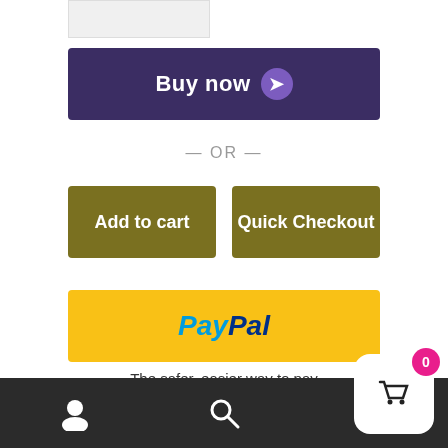[Figure (screenshot): Partial product image placeholder at top left]
Buy now ❯
— OR —
Add to cart
Quick Checkout
[Figure (logo): PayPal logo on yellow button]
The safer, easier way to pay
SKU: the-babysitter
Category: Sweet Temptations
[Figure (screenshot): Bottom navigation bar with user, search, and cart icons]